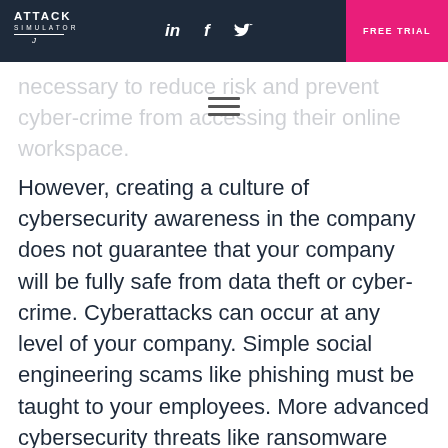ATTACK SIMULATOR | LinkedIn | Facebook | Twitter | FREE TRIAL
necessary to reduce risk and prevent cyber-crime from accessing their online workspace.
However, creating a culture of cybersecurity awareness in the company does not guarantee that your company will be fully safe from data theft or cyber-crime. Cyberattacks can occur at any level of your company. Simple social engineering scams like phishing must be taught to your employees. More advanced cybersecurity threats like ransomware and other malware are used to steal intellectual